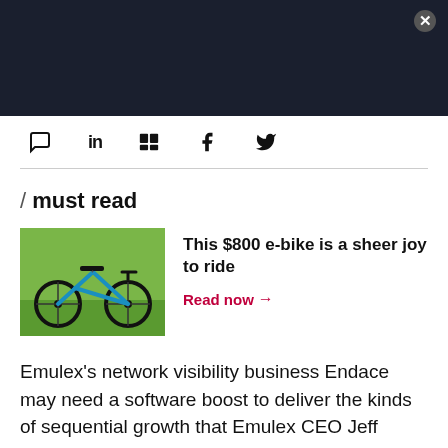[dark navigation bar with close button]
[Figure (screenshot): Dark top navigation bar with close button (X) in top right corner]
[Figure (infographic): Social sharing icon bar with comment, LinkedIn, Flipboard, Facebook, and Twitter icons]
/ must read
[Figure (photo): Blue folding e-bike on grass background]
This $800 e-bike is a sheer joy to ride
Read now →
Emulex's network visibility business Endace may need a software boost to deliver the kinds of sequential growth that Emulex CEO Jeff Benck wants.